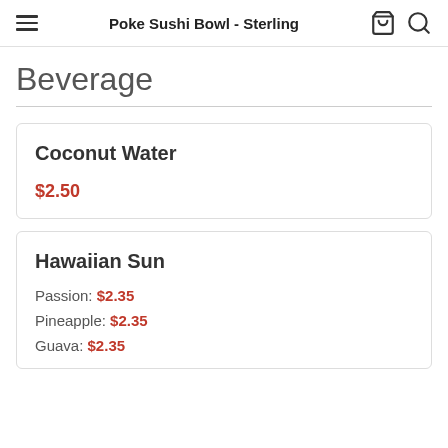Poke Sushi Bowl - Sterling
Beverage
Coconut Water
$2.50
Hawaiian Sun
Passion: $2.35
Pineapple: $2.35
Guava: $2.35